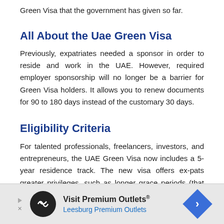Green Visa that the government has given so far.
All About the Uae Green Visa
Previously, expatriates needed a sponsor in order to reside and work in the UAE. However, required employer sponsorship will no longer be a barrier for Green Visa holders. It allows you to renew documents for 90 to 180 days instead of the customary 30 days.
Eligibility Criteria
For talented professionals, freelancers, investors, and entrepreneurs, the UAE Green Visa now includes a 5-year residence track. The new visa offers ex-pats greater privileges, such as longer grace periods (that reach up to
[Figure (other): Advertisement banner for Visit Premium Outlets - Leesburg Premium Outlets with logo, text and navigation arrow]